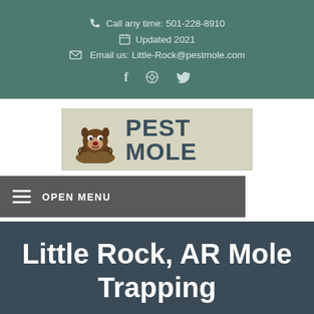Call any time: 501-228-8910
Updated 2021
Email us: Little-Rock@pestmole.com
[Figure (logo): Pest Mole logo with cartoon mole character and text PEST MOLE]
OPEN MENU
Little Rock, AR Mole Trapping